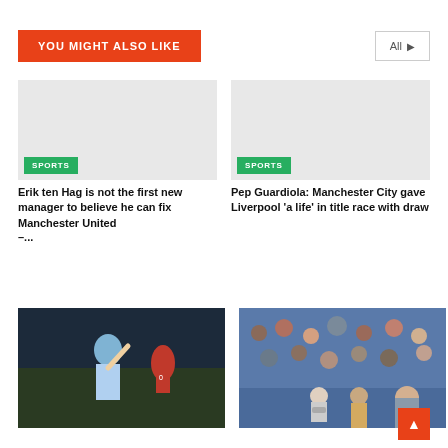YOU MIGHT ALSO LIKE
[Figure (screenshot): Placeholder image for sports article about Erik ten Hag]
SPORTS
Erik ten Hag is not the first new manager to believe he can fix Manchester United –...
[Figure (screenshot): Placeholder image for sports article about Pep Guardiola]
SPORTS
Pep Guardiola: Manchester City gave Liverpool 'a life' in title race with draw
[Figure (photo): Soccer player in light blue jersey celebrating with arm raised, red-shirted player in background]
[Figure (photo): Football crowd in stadium stands, spectators wearing masks and winter clothing]